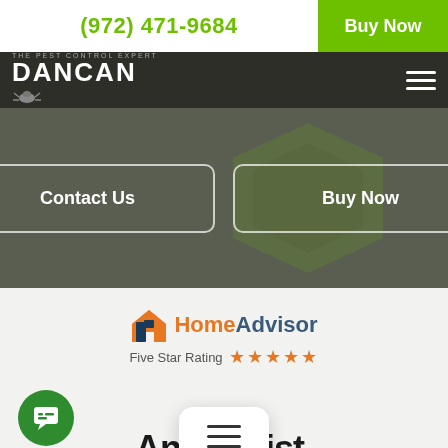(972) 471-9684  Buy Now
[Figure (logo): DANCAN The Pest Control Expert logo with bug icon on dark navigation bar]
[Figure (screenshot): Hero section with dark olive/grey background and two CTA buttons: Contact Us and Buy Now]
[Figure (logo): HomeAdvisor Five Star Rating logo with orange house icon and star ratings]
[Figure (screenshot): Bottom section showing green chat bubble button on left, floating hamburger menu overlay in center, and partial Angi...ist. text at bottom]